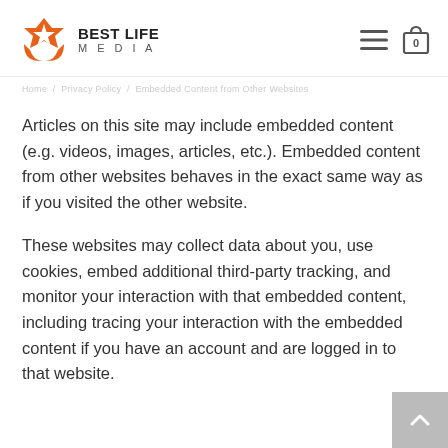[Figure (logo): Best Life Media logo with orange book/star icon and text 'BEST LIFE MEDIA']
Articles on this site may include embedded content (e.g. videos, images, articles, etc.). Embedded content from other websites behaves in the exact same way as if you visited the other website.
These websites may collect data about you, use cookies, embed additional third-party tracking, and monitor your interaction with that embedded content, including tracing your interaction with the embedded content if you have an account and are logged in to that website.